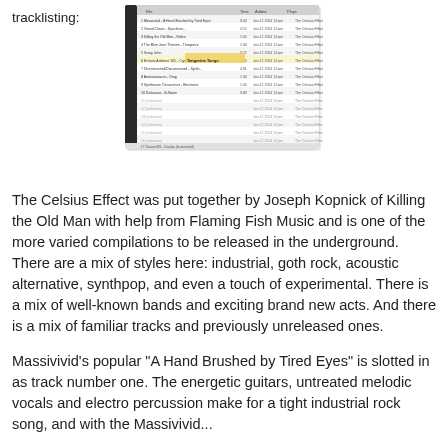tracklisting:
[Figure (screenshot): A screenshot of a music compilation tracklisting table showing multiple rows of tracks with columns for track number, title, duration, date, and other metadata.]
The Celsius Effect was put together by Joseph Kopnick of Killing the Old Man with help from Flaming Fish Music and is one of the more varied compilations to be released in the underground. There are a mix of styles here: industrial, goth rock, acoustic alternative, synthpop, and even a touch of experimental. There is a mix of well-known bands and exciting brand new acts. And there is a mix of familiar tracks and previously unreleased ones.
Massivivid's popular "A Hand Brushed by Tired Eyes" is slotted in as track number one. The energetic guitars, untreated melodic vocals and electro percussion make for a tight industrial rock song, and with the Massivivid...